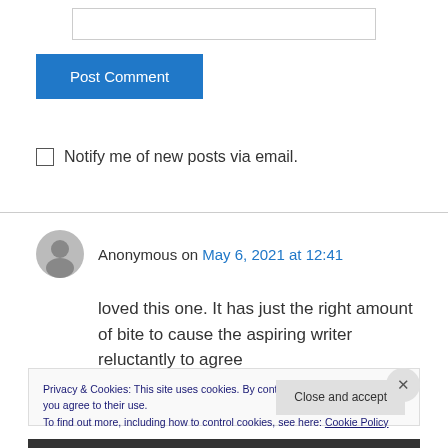[Figure (other): Empty text input box]
Post Comment
Notify me of new posts via email.
Anonymous on May 6, 2021 at 12:41
loved this one. It has just the right amount of bite to cause the aspiring writer reluctantly to agree
Privacy & Cookies: This site uses cookies. By continuing to use this website, you agree to their use.
To find out more, including how to control cookies, see here: Cookie Policy
Close and accept